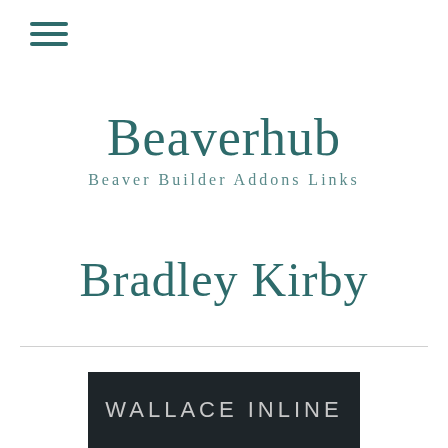[Figure (other): Hamburger menu icon with three horizontal teal lines]
Beaverhub
Beaver Builder Addons Links
Bradley Kirby
[Figure (other): Dark banner with text WALLACE INLINE in light gray uppercase letters]